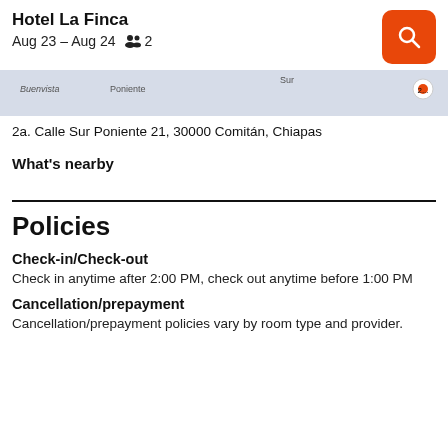Hotel La Finca
Aug 23 – Aug 24  👥 2
[Figure (screenshot): Partial map strip showing street map with 'Poniente' label and a location marker pin]
2a. Calle Sur Poniente 21, 30000 Comitán, Chiapas
What's nearby
Policies
Check-in/Check-out
Check in anytime after 2:00 PM, check out anytime before 1:00 PM
Cancellation/prepayment
Cancellation/prepayment policies vary by room type and provider.